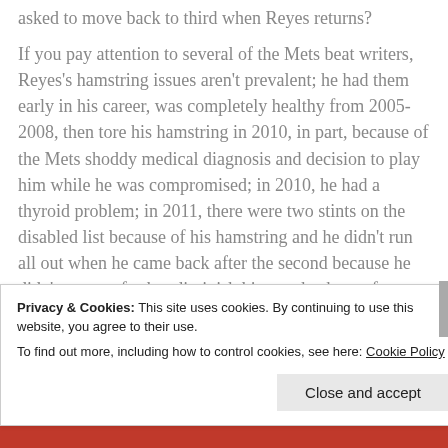asked to move back to third when Reyes returns?
If you pay attention to several of the Mets beat writers, Reyes's hamstring issues aren't prevalent; he had them early in his career, was completely healthy from 2005-2008, then tore his hamstring in 2010, in part, because of the Mets shoddy medical diagnosis and decision to play him while he was compromised; in 2010, he had a thyroid problem; in 2011, there were two stints on the disabled list because of his hamstring and he didn't run all out when he came back after the second because he didn't want to further diminish his paycheck as a free agent.
Privacy & Cookies: This site uses cookies. By continuing to use this website, you agree to their use. To find out more, including how to control cookies, see here: Cookie Policy